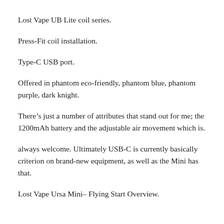Lost Vape UB Lite coil series.
Press-Fit coil installation.
Type-C USB port.
Offered in phantom eco-friendly, phantom blue, phantom purple, dark knight.
There’s just a number of attributes that stand out for me; the 1200mAh battery and the adjustable air movement which is.
always welcome. Ultimately USB-C is currently basically criterion on brand-new equipment, as well as the Mini has that.
Lost Vape Ursa Mini– Flying Start Overview.